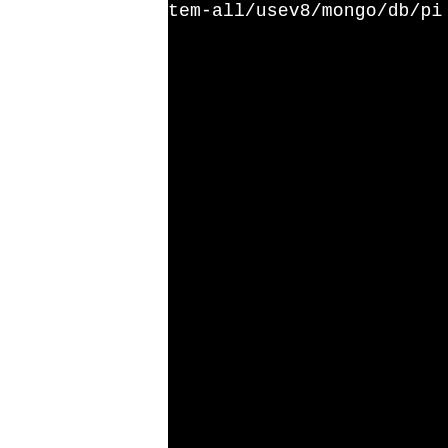tem-all/usev8/mongo/db/pi
lator_sum.o build/linux2/c
linux-g++/extralib_pcrecpp
y/use-system-all/usev8/mo
ne/builder.o build/linux2/
-linux-g++/extralib_pcrecp
y/use-system-all/usev8/mo
ne/doc_mem_monitor.o build
i486-pld-linux-g++/extral
re_snappy/use-system-all/u
b/pipeline/document.o bui
_i486-pld-linux-g++/extra
cre_snappy/use-system-all/
db/pipeline/document_sourc
nux2/cxx_i486-pld-linux-g-
crecpp_pcre_snappy/use-sys
8/mongo/db/pipeline/docume
on_array.o build/linux2/cx
inux-g++/extralib_pcrecpp_
use-system-all/usev8/mongo
e/document_source_command_
ld/linux2/cxx_i486-pld-lin
lib_pcrecpp_pcre_snappy/us
l/usev8/mongo/db/pipeline/